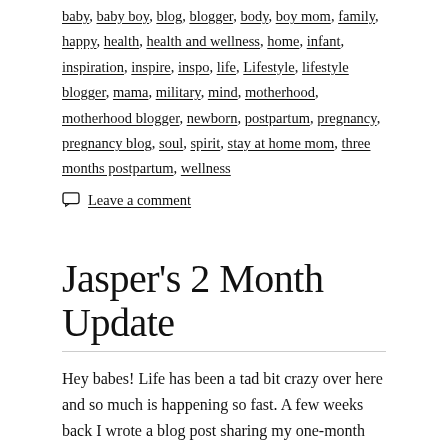baby, baby boy, blog, blogger, body, boy mom, family, happy, health, health and wellness, home, infant, inspiration, inspire, inspo, life, Lifestyle, lifestyle blogger, mama, military, mind, motherhood, motherhood blogger, newborn, postpartum, pregnancy, pregnancy blog, soul, spirit, stay at home mom, three months postpartum, wellness
Leave a comment
Jasper's 2 Month Update
Hey babes! Life has been a tad bit crazy over here and so much is happening so fast. A few weeks back I wrote a blog post sharing my one-month postpartum thoughts and how the new mom life is treating me (and Jasper of course). If you haven't read that post yet, check it out